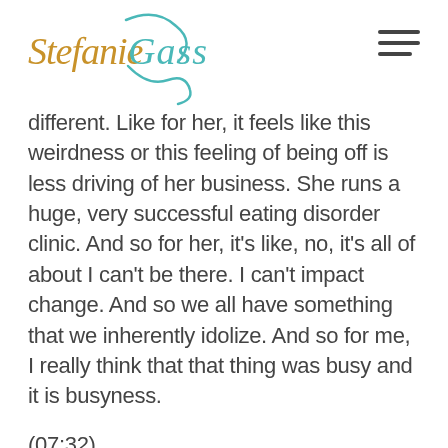Stefanie Gass
different. Like for her, it feels like this weirdness or this feeling of being off is less driving of her business. She runs a huge, very successful eating disorder clinic. And so for her, it’s like, no, it’s all of about I can’t be there. I can’t impact change. And so we all have something that we inherently idolize. And so for me, I really think that that thing was busy and it is busyness.
(07:32)
So anyways, why I am talking about this with you guys this morning is that I think